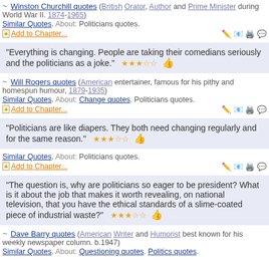Winston Churchill quotes (British Orator, Author and Prime Minister during World War II. 1874-1965)
Similar Quotes. About: Politicians quotes.
Add to Chapter...
"Everything is changing. People are taking their comedians seriously and the politicians as a joke."
Will Rogers quotes (American entertainer, famous for his pithy and homespun humour, 1879-1935)
Similar Quotes. About: Change quotes. Politicians quotes.
Add to Chapter...
"Politicians are like diapers. They both need changing regularly and for the same reason."
Similar Quotes. About: Politicians quotes.
Add to Chapter...
"The question is, why are politicians so eager to be president? What is it about the job that makes it worth revealing, on national television, that you have the ethical standards of a slime-coated piece of industrial waste?"
Dave Barry quotes (American Writer and Humorist best known for his weekly newspaper column. b.1947)
Similar Quotes. About: Questioning quotes. Politics quotes.